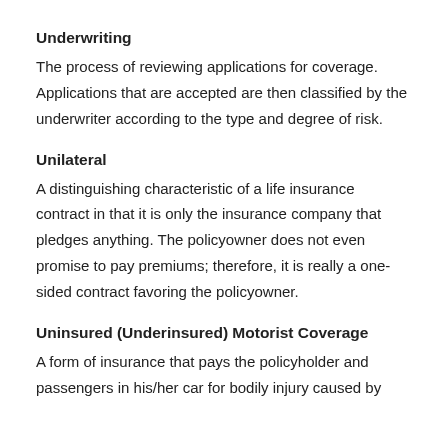Underwriting
The process of reviewing applications for coverage. Applications that are accepted are then classified by the underwriter according to the type and degree of risk.
Unilateral
A distinguishing characteristic of a life insurance contract in that it is only the insurance company that pledges anything. The policyowner does not even promise to pay premiums; therefore, it is really a one-sided contract favoring the policyowner.
Uninsured (Underinsured) Motorist Coverage
A form of insurance that pays the policyholder and passengers in his/her car for bodily injury caused by